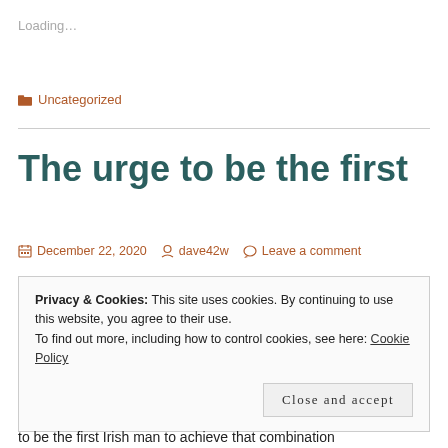Loading…
📁 Uncategorized
The urge to be the first
December 22, 2020  dave42w  Leave a comment
Privacy & Cookies: This site uses cookies. By continuing to use this website, you agree to their use.
To find out more, including how to control cookies, see here: Cookie Policy
Close and accept
to be the first Irish man to achieve that combination